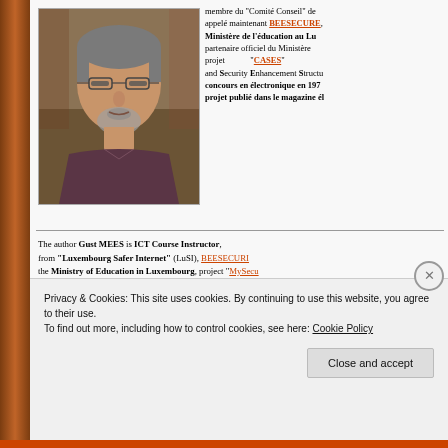[Figure (photo): Portrait photo of a middle-aged man with glasses and grey beard, wearing a dark shirt]
membre du "Comité Conseil" de... appelé maintenant BEESECURE, Ministère de l'éducation au Lu... partenaire officiel du Ministère ... projet "CASES" and Security Enhancement Structu... concours en électronique en 197... projet publié dans le magazine él...
The author Gust MEES is ICT Course Instructor, from "Luxembourg Safer Internet" (LuSI), BEESECURI... the Ministry of Education in Luxembourg, project "MySecu... of Commerce in Luxembourg, project "C... and Security Enhancement Structure).
Privacy & Cookies: This site uses cookies. By continuing to use this website, you agree to their use.
To find out more, including how to control cookies, see here: Cookie Policy
Close and accept